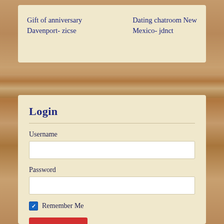Gift of anniversary Davenport- zicse
Dating chatroom New Mexico- jdnct
Login
Username
Password
Remember Me
Log In